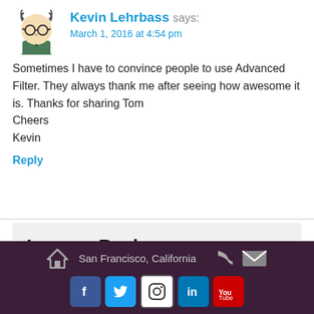[Figure (illustration): Avatar illustration of Kevin Lehrbass - cartoon figure with glasses and green shirt]
Kevin Lehrbass says:
March 1, 2016 at 4:54 pm
Sometimes I have to convince people to use Advanced Filter. They always thank me after seeing how awesome it is. Thanks for sharing Tom
Cheers
Kevin
Reply
Leave a Reply
Your email address will not be published. Required fields are
San Francisco, California | social media icons: Facebook, Twitter, Instagram, LinkedIn, YouTube